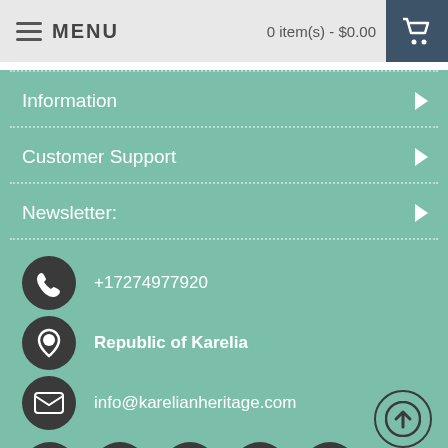MENU | 0 item(s) - $0.00
Information
Customer Support
Newsletter:
+17274977920
Republic of Karelia
info@karelianheritage.com